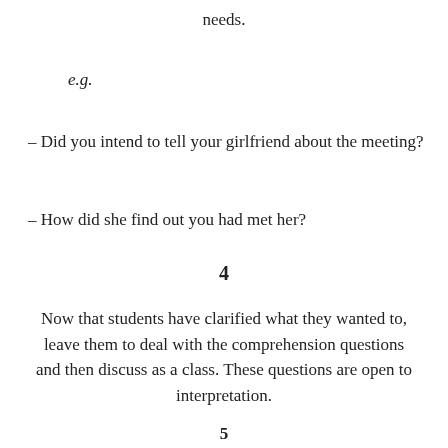needs.
e.g.
– Did you intend to tell your girlfriend about the meeting?
– How did she find out you had met her?
4
Now that students have clarified what they wanted to, leave them to deal with the comprehension questions and then discuss as a class. These questions are open to interpretation.
5